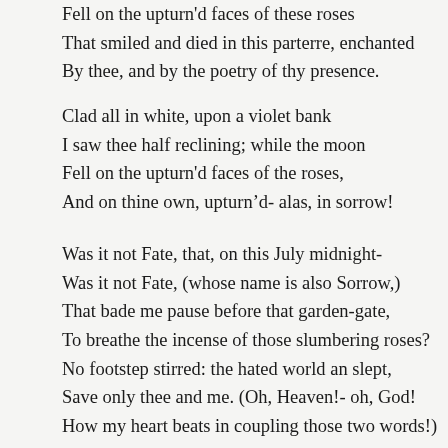Fell on the upturn'd faces of these roses
That smiled and died in this parterre, enchanted
By thee, and by the poetry of thy presence.
Clad all in white, upon a violet bank
I saw thee half reclining; while the moon
Fell on the upturn'd faces of the roses,
And on thine own, upturn'd- alas, in sorrow!
Was it not Fate, that, on this July midnight-
Was it not Fate, (whose name is also Sorrow,)
That bade me pause before that garden-gate,
To breathe the incense of those slumbering roses?
No footstep stirred: the hated world an slept,
Save only thee and me. (Oh, Heaven!- oh, God!
How my heart beats in coupling those two words!)